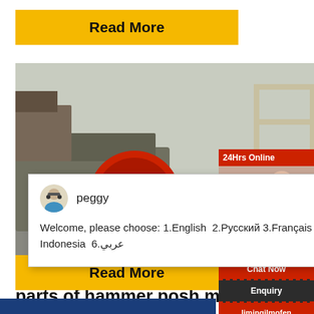Read More
[Figure (photo): Industrial machinery/mill equipment outdoors, showing red drum/roller and metal scaffolding structure]
peggy
Welcome, please choose: 1.English  2.Русский 3.Français  4.Español  5.bahasa Indonesia  6.عربي
24Hrs Online
parts of hammer posh mill
Read More
[Figure (screenshot): Right sidebar with chat agent photo, badge showing '1', Need question & suggestion panel, Chat Now button, Enquiry section, limingjlmofen section]
limingjlmofen